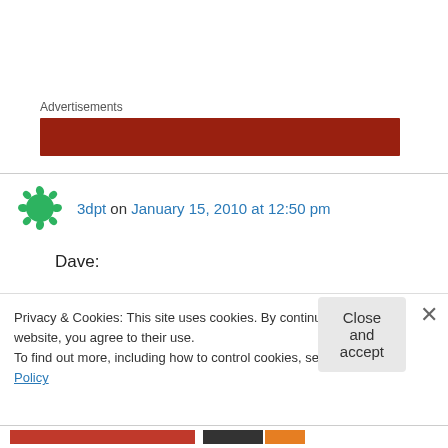Advertisements
[Figure (other): Red advertisement banner placeholder]
3dpt on January 15, 2010 at 12:50 pm
Dave:

I am very happy to have the AAE used as you describe, and look forward to incorporating whatever animation you arrive at on my soon-to-
Privacy & Cookies: This site uses cookies. By continuing to use this website, you agree to their use.
To find out more, including how to control cookies, see here: Cookie Policy